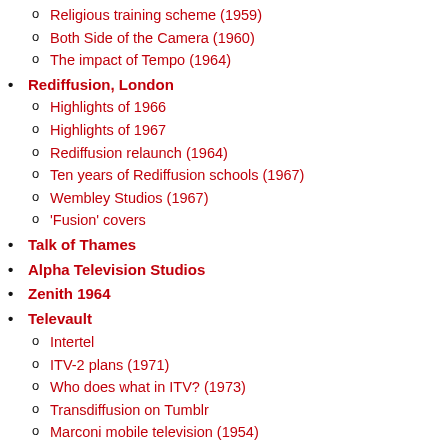Religious training scheme (1959)
Both Side of the Camera (1960)
The impact of Tempo (1964)
Rediffusion, London
Highlights of 1966
Highlights of 1967
Rediffusion relaunch (1964)
Ten years of Rediffusion schools (1967)
Wembley Studios (1967)
'Fusion' covers
Talk of Thames
Alpha Television Studios
Zenith 1964
Televault
Intertel
ITV-2 plans (1971)
Who does what in ITV? (1973)
Transdiffusion on Tumblr
Marconi mobile television (1954)